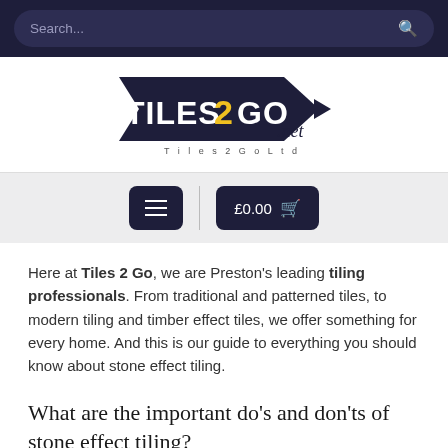Search...
[Figure (logo): Tiles 2 Go .net logo with arrow shapes and 'Tiles 2 Go Ltd' text beneath]
[Figure (screenshot): Navigation bar with hamburger menu button and £0.00 shopping cart button]
Here at Tiles 2 Go, we are Preston's leading tiling professionals. From traditional and patterned tiles, to modern tiling and timber effect tiles, we offer something for every home. And this is our guide to everything you should know about stone effect tiling.
What are the important do's and don'ts of stone effect tiling?